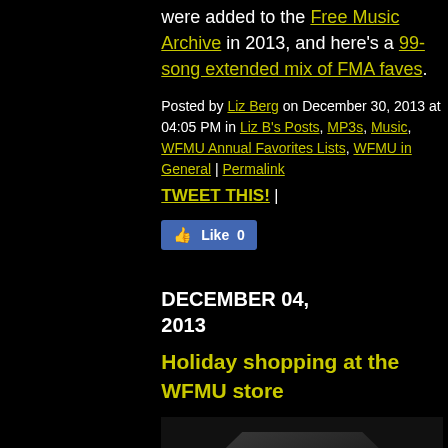were added to the Free Music Archive in 2013, and here's a 99-song extended mix of FMA faves.
Posted by Liz Berg on December 30, 2013 at 04:05 PM in Liz B's Posts, MP3s, Music, WFMU Annual Favorites Lists, WFMU in General | Permalink
TWEET THIS! |
[Figure (screenshot): Facebook Like button showing 0 likes]
DECEMBER 04, 2013
Holiday shopping at the WFMU store
[Figure (photo): Black leather boot or bag product photo on black background]